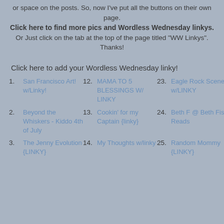or space on the posts. So, now I've put all the buttons on their own page. Click here to find more pics and Wordless Wednesday linkys. Or Just click on the tab at the top of the page titled "WW Linkys". Thanks!
Click here to add your Wordless Wednesday linky!
1. San Francisco Art! w/Linky!
12. MAMA TO 5 BLESSINGS W/ LINKY
23. Eagle Rock Scenes w/LINKY
2. Beyond the Whiskers - Kiddo 4th of July
13. Cookin' for my Captain {linky}
24. Beth F @ Beth Fish Reads
3. The Jenny Evolution {LINKY}
14. My Thoughts w/linky
25. Random Mommy {LINKY}